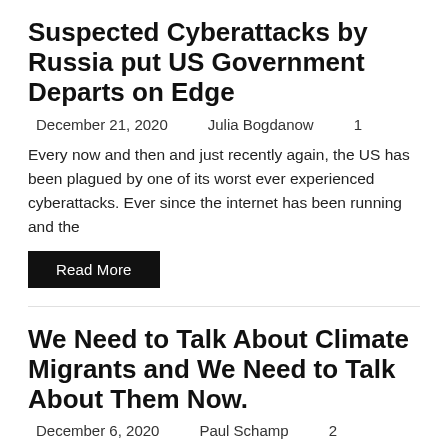Suspected Cyberattacks by Russia put US Government Departs on Edge
December 21, 2020    Julia Bogdanow    1
Every now and then and just recently again, the US has been plagued by one of its worst ever experienced cyberattacks. Ever since the internet has been running and the
Read More
We Need to Talk About Climate Migrants and We Need to Talk About Them Now.
December 6, 2020    Paul Schamp    2
As Climate Change intensifies, Climate Migrants become more of a terrifying reality. Already crippled by the economic crisis caused by the coronavirus, Guatemala and other Central American countries are facing
Read More